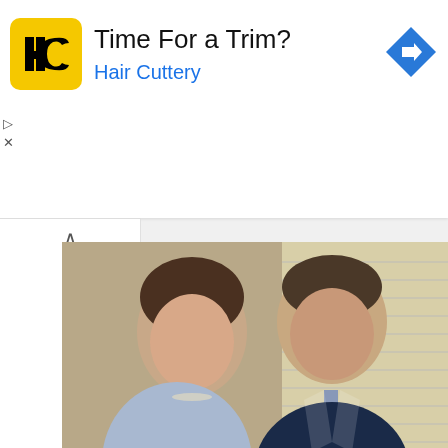[Figure (screenshot): Hair Cuttery advertisement banner with logo, 'Time For a Trim?' headline, and navigation arrow icon]
[Figure (photo): Photo of a woman in a light blue top and a man in a dark navy suit smiling together indoors]
Governor Bill Lee Announces First Lady Maria Lee Has Lymphoma
[Figure (photo): Photo of a woman with light brown hair and a man smiling together with the US Capitol building in the background]